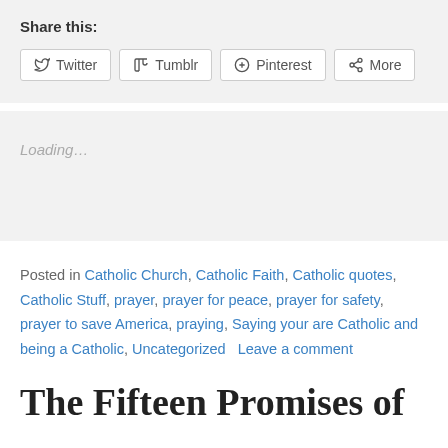Share this:
[Figure (other): Social share buttons: Twitter, Tumblr, Pinterest, More]
Loading…
Posted in Catholic Church, Catholic Faith, Catholic quotes, Catholic Stuff, prayer, prayer for peace, prayer for safety, prayer to save America, praying, Saying your are Catholic and being a Catholic, Uncategorized   Leave a comment
The Fifteen Promises of